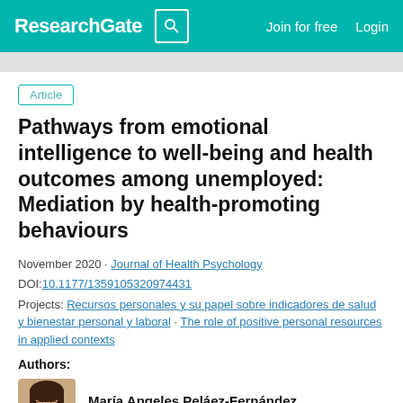ResearchGate | Join for free | Login
Article
Pathways from emotional intelligence to well-being and health outcomes among unemployed: Mediation by health-promoting behaviours
November 2020 · Journal of Health Psychology
DOI:10.1177/1359105320974431
Projects: Recursos personales y su papel sobre indicadores de salud y bienestar personal y laboral · The role of positive personal resources in applied contexts
Authors:
[Figure (photo): Portrait photo of María Angeles Peláez-Fernández]
María Angeles Peláez-Fernández
University of Malaga